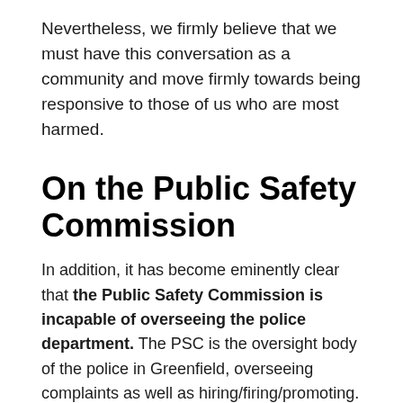Nevertheless, we firmly believe that we must have this conversation as a community and move firmly towards being responsive to those of us who are most harmed.
On the Public Safety Commission
In addition, it has become eminently clear that the Public Safety Commission is incapable of overseeing the police department. The PSC is the oversight body of the police in Greenfield, overseeing complaints as well as hiring/firing/promoting. The Buchanan case makes it clear that the PSC has enabled repeated wrongdoings at GPD and continues to expose residents to risks of retaliation by relying